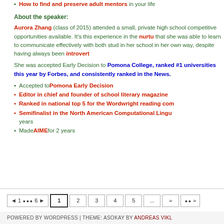How to find and preserve adult mentors in your life
About the speaker:
Aurora Zhang (class of 2015) attended a small, private high school competitive opportunities available. It's this experience in the nurtu that she was able to learn to communicate effectively with both stud in her school in her own way, despite having always been introvert
She was accepted Early Decision to Pomona College, ranked #1 universities this year by Forbes, and consistently ranked in the News.
Accepted to Pomona Early Decision
Editor in chief and founder of school literary magazine
Ranked in national top 5 for the Wordwright reading com
Semifinalist in the North American Computational Lingu years
Made AIME for 2 years
◄ 1 ⬥⬥⬥ 6 ► | 1 2 3 4 5 ... » ⬥⬥ »
POWERED BY WORDPRESS | THEME: ASOKAY BY ANDREAS VIKL